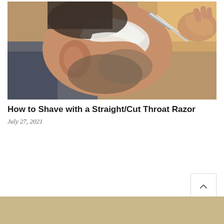[Figure (photo): Close-up photo of a man getting shaved with a straight/cut throat razor. Shaving cream is visible on his face near his ear and cheek. A hand holds the razor applying it to his face.]
How to Shave with a Straight/Cut Throat Razor
July 27, 2021